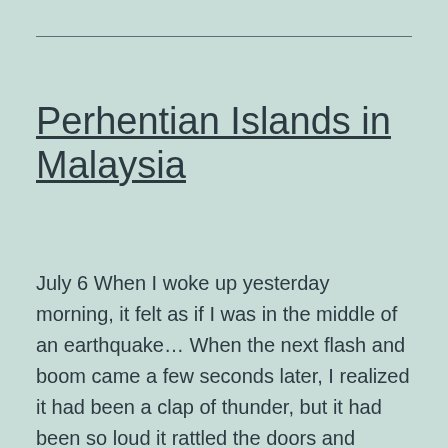Perhentian Islands in Malaysia
July 6 When I woke up yesterday morning, it felt as if I was in the middle of an earthquake… When the next flash and boom came a few seconds later, I realized it had been a clap of thunder, but it had been so loud it rattled the doors and windows in my room!… Continue